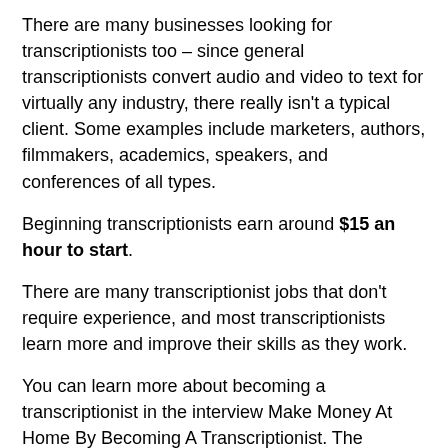There are many businesses looking for transcriptionists too – since general transcriptionists convert audio and video to text for virtually any industry, there really isn't a typical client. Some examples include marketers, authors, filmmakers, academics, speakers, and conferences of all types.
Beginning transcriptionists earn around $15 an hour to start.
There are many transcriptionist jobs that don't require experience, and most transcriptionists learn more and improve their skills as they work.
You can learn more about becoming a transcriptionist in the interview Make Money At Home By Becoming A Transcriptionist. The interview explains:
What a transcriptionist is
How you can get started as a transcriptionist
What kind of money you can expect to make